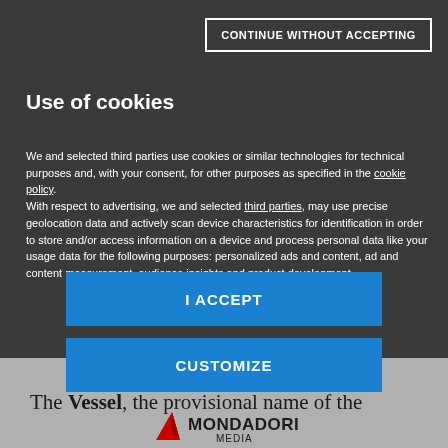CONTINUE WITHOUT ACCEPTING
Use of cookies
We and selected third parties use cookies or similar technologies for technical purposes and, with your consent, for other purposes as specified in the cookie policy.
With respect to advertising, we and selected third parties, may use precise geolocation data and actively scan device characteristics for identification in order to store and/or access information on a device and process personal data like your usage data for the following purposes: personalized ads and content, ad and content measurement, audience insights and product development.
I ACCEPT
CUSTOMIZE
[Figure (logo): Mondadori Media logo with red geometric mark and bold black text]
The Vessel, the provisional name of the